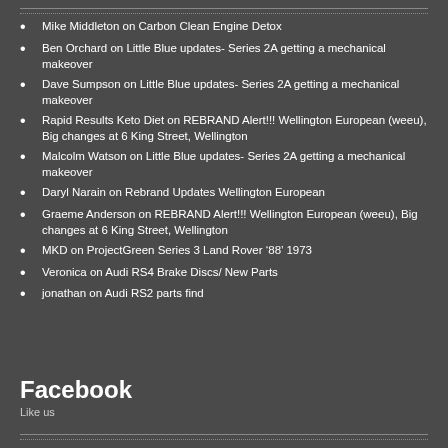Mike Middleton on Carbon Clean Engine Detox
Ben Orchard on Little Blue updates- Series 2A getting a mechanical makeover
Dave Sumpson on Little Blue updates- Series 2A getting a mechanical makeover
Rapid Results Keto Diet on REBRAND Alert!!! Wellington European (weeu), Big changes at 6 King Street, Wellington
Malcolm Watson on Little Blue updates- Series 2A getting a mechanical makeover
Daryl Narain on Rebrand Updates Wellington European
Graeme Anderson on REBRAND Alert!!! Wellington European (weeu), Big changes at 6 King Street, Wellington
MKD on ProjectGreen Series 3 Land Rover ‘88’ 1973
Veronica on Audi RS4 Brake Discs/ New Parts
jonathan on Audi RS2 parts find
Facebook
Like us